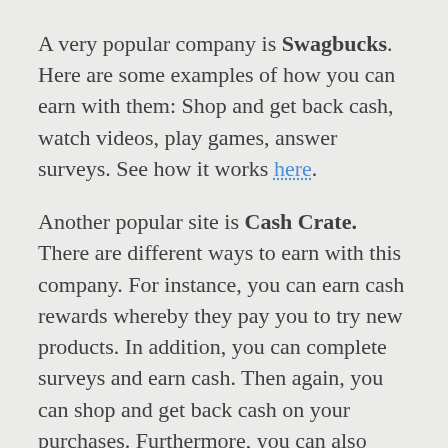A very popular company is Swagbucks. Here are some examples of how you can earn with them: Shop and get back cash, watch videos, play games, answer surveys. See how it works here.
Another popular site is Cash Crate. There are different ways to earn with this company. For instance, you can earn cash rewards whereby they pay you to try new products. In addition, you can complete surveys and earn cash. Then again, you can shop and get back cash on your purchases. Furthermore, you can also earn cash when you refer others to the company. Check for more information here.
One great company to check out is Fusion